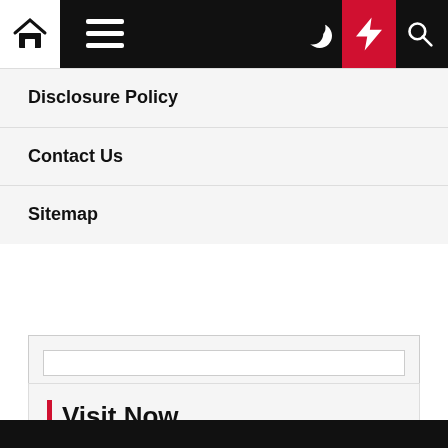Navigation bar with home, menu, moon, bolt, and search icons
Disclosure Policy
Contact Us
Sitemap
[Figure (other): Search input box area with a white text field]
Visit Now
Home Design
Black footer bar